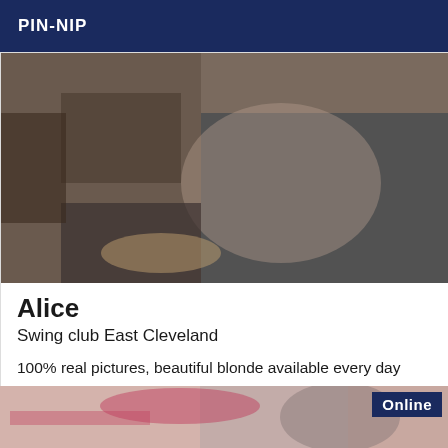PIN-NIP
[Figure (photo): Photo of a person in a room with furniture, posed on a dark couch/ottoman]
Alice
Swing club East Cleveland
100% real pictures, beautiful blonde available every day from 11am to 9pm for more info please call ...... kiss and see you soon.
[Figure (photo): Partial photo of a person with a tattoo, with an 'Online' badge in the top right corner]